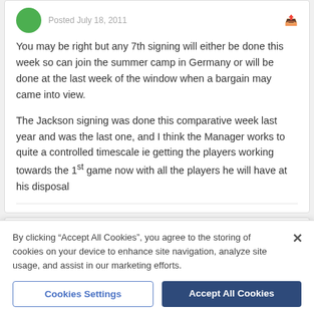You may be right but any 7th signing will either be done this week so can join the summer camp in Germany or will be done at the last week of the window when a bargain may came into view.

The Jackson signing was done this comparative week last year and was the last one, and I think the Manager works to quite a controlled timescale ie getting the players working towards the 1st game now with all the players he will have at his disposal
Ernie  0
Posted July 18, 2011
By clicking "Accept All Cookies", you agree to the storing of cookies on your device to enhance site navigation, analyze site usage, and assist in our marketing efforts.
Cookies Settings
Accept All Cookies